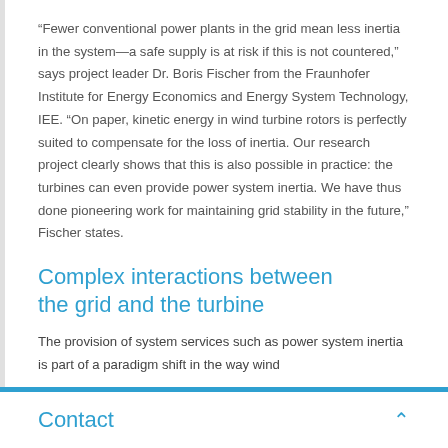“Fewer conventional power plants in the grid mean less inertia in the system—a safe supply is at risk if this is not countered,” says project leader Dr. Boris Fischer from the Fraunhofer Institute for Energy Economics and Energy System Technology, IEE. “On paper, kinetic energy in wind turbine rotors is perfectly suited to compensate for the loss of inertia. Our research project clearly shows that this is also possible in practice: the turbines can even provide power system inertia. We have thus done pioneering work for maintaining grid stability in the future,” Fischer states.
Complex interactions between the grid and the turbine
The provision of system services such as power system inertia is part of a paradigm shift in the way wind
Contact